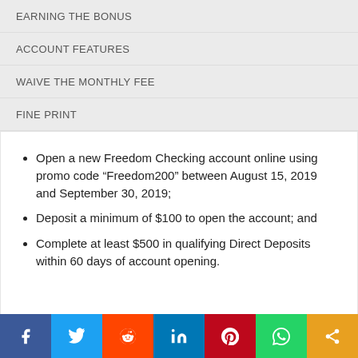EARNING THE BONUS
ACCOUNT FEATURES
WAIVE THE MONTHLY FEE
FINE PRINT
Open a new Freedom Checking account online using promo code “Freedom200” between August 15, 2019 and September 30, 2019;
Deposit a minimum of $100 to open the account; and
Complete at least $500 in qualifying Direct Deposits within 60 days of account opening.